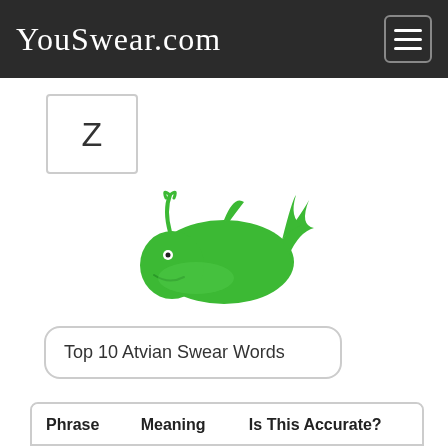YouSwear.com
Z
[Figure (illustration): Green whale icon/logo centered on the page]
Top 10 Atvian Swear Words
| Phrase | Meaning | Is This Accurate? |
| --- | --- | --- |